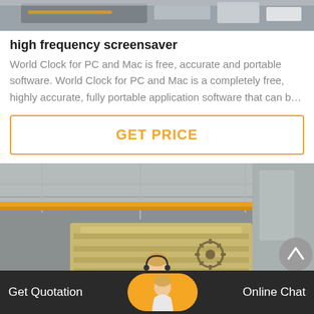[Figure (photo): Top portion of an industrial machine, partially cropped, showing machinery components on a gray surface]
high frequency screensaver
World Clock for PC and Mac is free, accurate and portable software. World Clock for PC and Mac is a completely free, highly accurate, fully portable application software that can b…
GET PRICE
[Figure (photo): Industrial factory interior showing a large yellow overhead crane and large industrial equipment (crusher/screener) in a high-ceiling warehouse]
Get Quotation
Online Chat